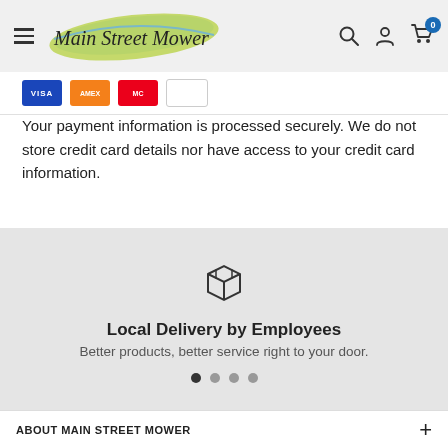Main Street Mower
[Figure (logo): Main Street Mower logo with green leaf-shaped background and stylized hand-written text]
Your payment information is processed securely. We do not store credit card details nor have access to your credit card information.
[Figure (illustration): Box/package delivery icon - line drawing of a cube/box]
Local Delivery by Employees
Better products, better service right to your door.
ABOUT MAIN STREET MOWER